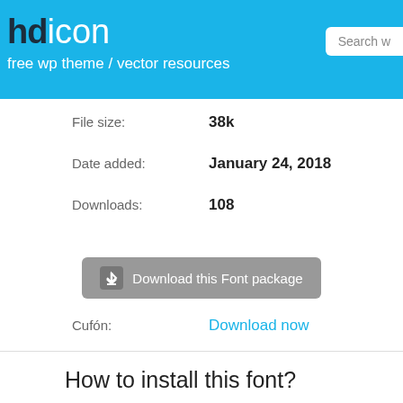hdicon - free wp theme / vector resources
File size: 38k
Date added: January 24, 2018
Downloads: 108
Download this Font package
Cufón: Download now
How to install this font?